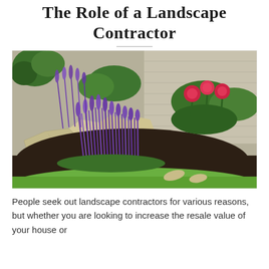The Role of a Landscape Contractor
[Figure (photo): A landscaped garden bed featuring purple salvia/lavender plants, large decorative stones/boulders, green shrubs, red roses in the background, dark mulch, and a well-manicured green lawn in the foreground. A building's siding is visible in the upper right background.]
People seek out landscape contractors for various reasons, but whether you are looking to increase the resale value of your house or